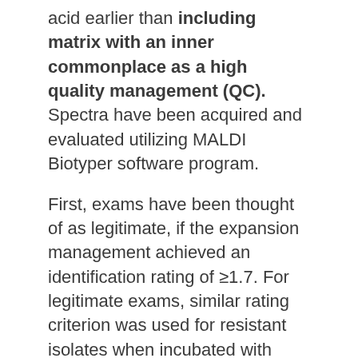acid earlier than including matrix with an inner commonplace as a high quality management (QC). Spectra have been acquired and evaluated utilizing MALDI Biotyper software program.
First, exams have been thought of as legitimate, if the expansion management achieved an identification rating of ≥1.7. For legitimate exams, similar rating criterion was used for resistant isolates when incubated with cefoxitin. An identification rating <1.7 after incubation with cefoxitin outlined prone isolates.
On-target protein extraction utilizing formic acid significantly